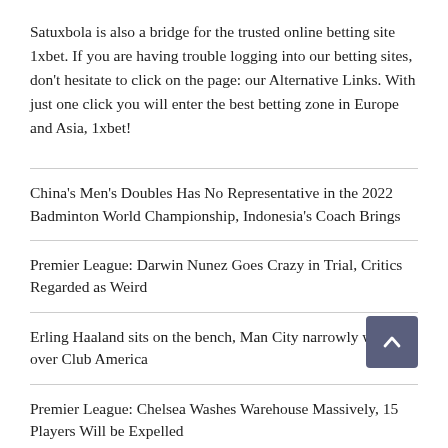Satuxbola is also a bridge for the trusted online betting site 1xbet. If you are having trouble logging into our betting sites, don't hesitate to click on the page: our Alternative Links. With just one click you will enter the best betting zone in Europe and Asia, 1xbet!
China's Men's Doubles Has No Representative in the 2022 Badminton World Championship, Indonesia's Coach Brings
Premier League: Darwin Nunez Goes Crazy in Trial, Critics Regarded as Weird
Erling Haaland sits on the bench, Man City narrowly wins over Club America
Premier League: Chelsea Washes Warehouse Massively, 15 Players Will be Expelled
Premier League: Choose Lisandro Martinez, Erik ten Hag